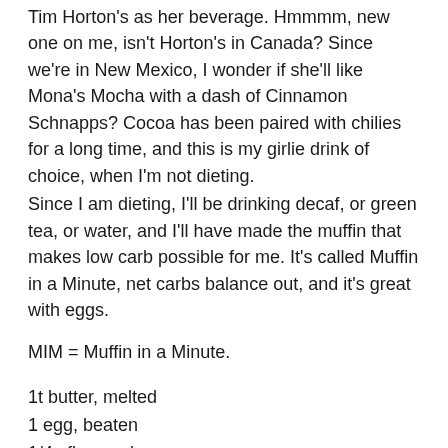Tim Horton's as her beverage. Hmmmm, new one on me, isn't Horton's in Canada? Since we're in New Mexico, I wonder if she'll like Mona's Mocha with a dash of Cinnamon Schnapps? Cocoa has been paired with chilies for a long time, and this is my girlie drink of choice, when I'm not dieting.
Since I am dieting, I'll be drinking decaf, or green tea, or water, and I'll have made the muffin that makes low carb possible for me. It's called Muffin in a Minute, net carbs balance out, and it's great with eggs.
MIM = Muffin in a Minute.
1t butter, melted
1 egg, beaten
1/4c flaxmeal
1 packet Splenda
1/8t …